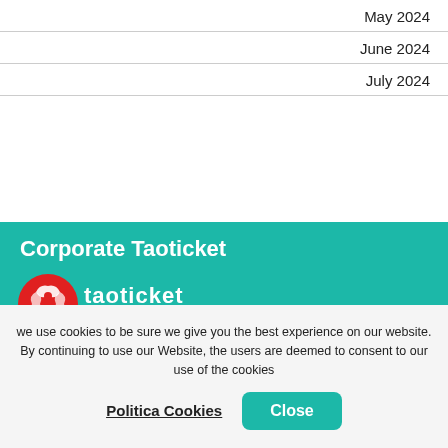May 2024
June 2024
July 2024
Corporate Taoticket
[Figure (logo): Taoticket Network logo with red circle icon and white text]
Payments
[Figure (logo): Payment method icons: PayPal, American Express, MasterCard SecureCode, Verified by VISA, Alipay, WeChat Pay]
we use cookies to be sure we give you the best experience on our website. By continuing to use our Website, the users are deemed to consent to our use of the cookies
Politica Cookies
Close